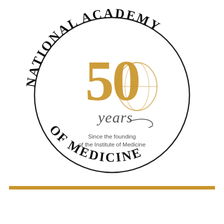[Figure (logo): National Academy of Medicine 50 years logo — circular text reading 'NATIONAL ACADEMY' on top arc and 'OF MEDICINE' on bottom arc, with gold '50' numeral and script 'years' in center, and text 'Since the founding of the Institute of Medicine' below the numeral.]